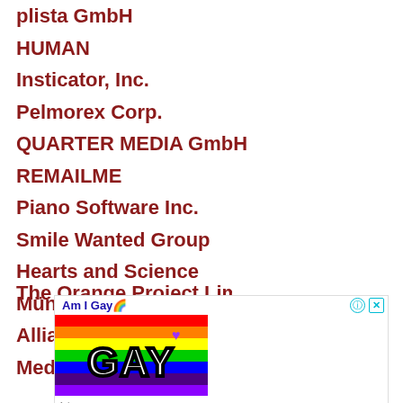plista GmbH
HUMAN
Insticator, Inc.
Pelmorex Corp.
QUARTER MEDIA GmbH
REMAILME
Piano Software Inc.
Smile Wanted Group
Hearts and Science
München GmbH
Alliance Gravity Data
Media
The Orange Project Limited
[Figure (advertisement): Rainbow-colored advertisement banner with 'GAY' text in white bold letters on rainbow stripes background with a purple heart, titled 'Am I Gay?' with close and info icons, and 'Ad' label at the bottom.]